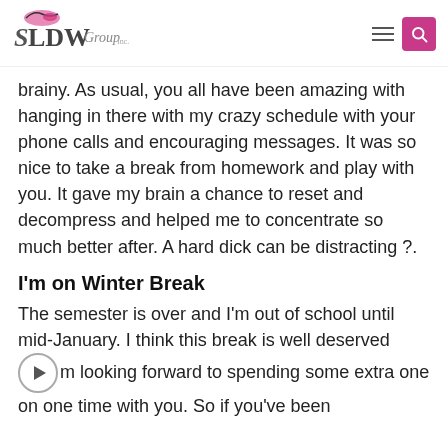LDW Group
brainy. As usual, you all have been amazing with hanging in there with my crazy schedule with your phone calls and encouraging messages. It was so nice to take a break from homework and play with you. It gave my brain a chance to reset and decompress and helped me to concentrate so much better after. A hard dick can be distracting ?.
I'm on Winter Break
The semester is over and I'm out of school until mid-January. I think this break is well deserved and I'm looking forward to spending some extra one on one time with you. So if you've been